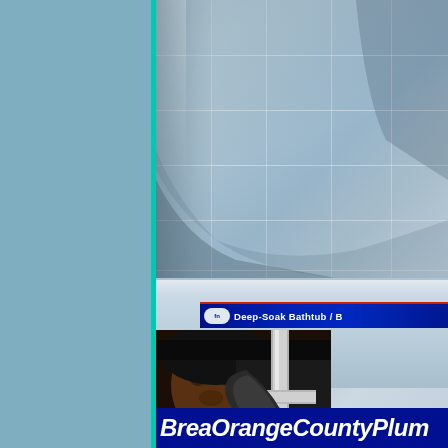[Figure (photo): Composite image showing a deep-soak bathtub interior with light blue/grey tiles and white tub rim, overlaid at bottom with a photo of a plumber holding a wrench near plumbing pipes, and a blue product label reading 'Deep-Soak Bathtub / B...' on the tub rim. Left side of page has a steel-blue background panel with a teal vertical stripe.]
Deep-Soak Bathtub / B...
BreaOrangeCountyPlum...